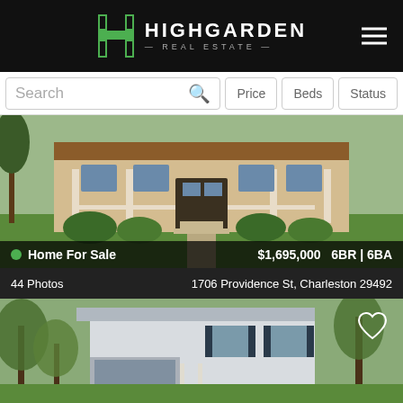HIGHGARDEN REAL ESTATE
Search | Price | Beds | Status
[Figure (photo): Exterior photo of a large home with covered front porch, dark shutters, and green landscaping. Home For Sale. $1,695,000 6BR | 6BA. 44 Photos. 1706 Providence St, Charleston 29492]
[Figure (photo): Exterior photo of a two-story white/light blue home with trees in foreground, heart/favorite icon overlay]
Call to Schedule a Showing
(843) 968-0890